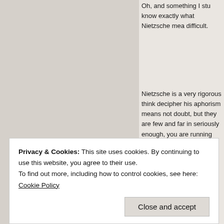[Figure (screenshot): Screenshot of a blog comment page showing text about Nietzsche, with a user avatar icon, comment text, and a Like button. A cookie consent banner overlays the bottom portion.]
Oh, and something I stu know exactly what Nietzsche mea difficult.
Nietzsche is a very rigorous think decipher his aphorism means not doubt, but they are few and far in seriously enough, you are running levels towards us. To a society wh a GOD and cannot put it at stake
★ Like
Privacy & Cookies: This site uses cookies. By continuing to use this website, you agree to their use.
To find out more, including how to control cookies, see here: Cookie Policy
Close and accept